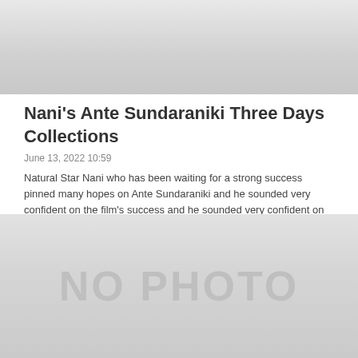[Figure (photo): Gray gradient placeholder image at the top of the article]
Nani's Ante Sundaraniki Three Days Collections
June 13, 2022 10:59
Natural Star Nani who has been waiting for a strong success pinned many hopes on Ante Sundaraniki and he sounded very confident on the film's success...
Read More
[Figure (photo): Gray gradient placeholder image with 'NO PHOTO' text]